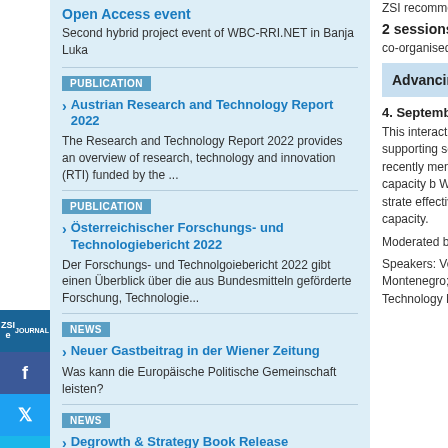Open Access event
Second hybrid project event of WBC-RRI.NET in Banja Luka
PUBLICATION
Austrian Research and Technology Report 2022
The Research and Technology Report 2022 provides an overview of research, technology and innovation (RTI) funded by the ...
PUBLICATION
Österreichischer Forschungs- und Technologiebericht 2022
Der Forschungs- und Technolgoiebericht 2022 gibt einen Überblick über die aus Bundesmitteln geförderte Forschung, Technologie...
NEWS
Neuer Gastbeitrag in der Wiener Zeitung
Was kann die Europäische Politische Gemeinschaft leisten?
NEWS
Degrowth & Strategy Book Release
How to bring about a social-ecological transformation? The book Degrowth & Strategies investigates possible answers.
ZSI recommends several
2 sessions on Western
co-organised by Desiree
Advancing R&I eco ERA integration
4. September 2020, 12.0
This interactive roundtab especially the Action Pla supporting socio-econom cooperation and mobility Area as recently mention der Leyen. Further key d resources and capacity b WB policies and of Centr infrastructures into strate effective way to use the v instruments such as S3 s capacity.
Moderated by: Stefan We European Commission
Speakers: Vedran Šimur General Director for Inno Montenegro; Ales Gnam Ognjen Prnjat, Director o Technology Network